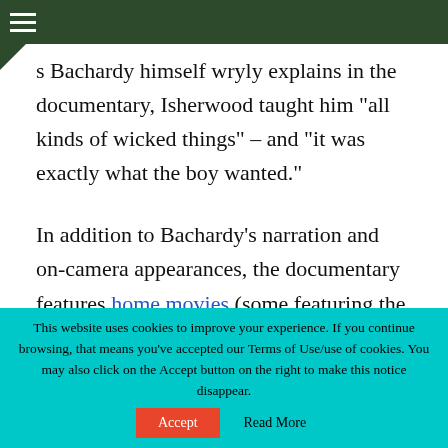s Bachardy himself wryly explains in the documentary, Isherwood taught him “all kinds of wicked things” – and “it was exactly what the boy wanted.”
In addition to Bachardy’s narration and on-camera appearances, the documentary features home movies (some featuring the likes of Tennessee Williams, Igor Stravinsky, and W. H. Auden), Michael York (who played the Isherwood-like
This website uses cookies to improve your experience. If you continue browsing, that means you’ve accepted our Terms of Use/use of cookies. You may also click on the Accept button on the right to make this notice disappear.